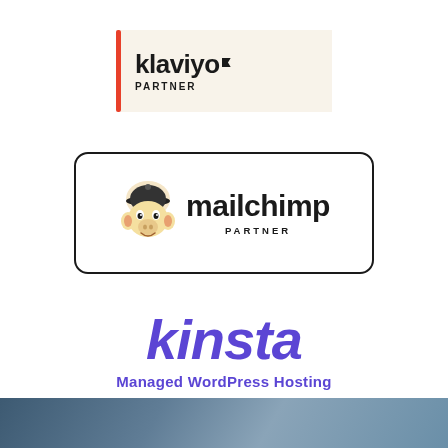[Figure (logo): Klaviyo Partner badge with red vertical bar on left and cream/beige background showing 'klaviyo' wordmark with small flag icon and 'PARTNER' text below]
[Figure (logo): Mailchimp Partner badge with rounded rectangle border, Freddie the monkey mascot icon on left, 'mailchimp' bold wordmark and 'PARTNER' text below]
[Figure (logo): Kinsta logo in purple/violet italic bold font with 'Managed WordPress Hosting' subtitle below in matching purple]